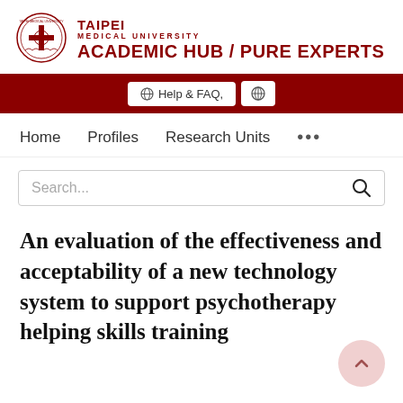[Figure (logo): Taipei Medical University circular seal/logo in dark red]
TAIPEI
MEDICAL UNIVERSITY
ACADEMIC HUB / PURE EXPERTS
Help & FAQ,
Home   Profiles   Research Units   ...
Search...
An evaluation of the effectiveness and acceptability of a new technology system to support psychotherapy helping skills training